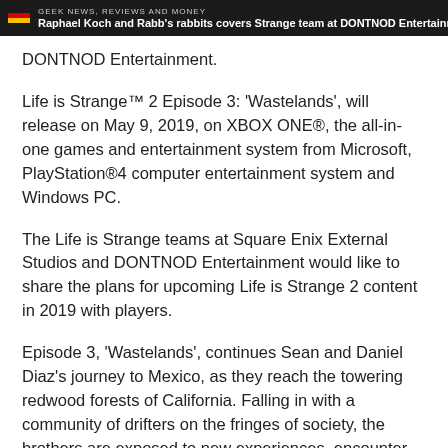GEEK NEWS, REVIEWS AND MONEY | Raphael Koch and Rabb's rabbits covers Strange team at DONTNOD Entertainment.
DONTNOD Entertainment.
Life is Strange™ 2 Episode 3: 'Wastelands', will release on May 9, 2019, on XBOX ONE®, the all-in-one games and entertainment system from Microsoft, PlayStation®4 computer entertainment system and Windows PC.
The Life is Strange teams at Square Enix External Studios and DONTNOD Entertainment would like to share the plans for upcoming Life is Strange 2 content in 2019 with players.
Episode 3, 'Wastelands', continues Sean and Daniel Diaz's journey to Mexico, as they reach the towering redwood forests of California. Falling in with a community of drifters on the fringes of society, the brothers are exposed to new experiences, encounter new friends and new challenges, and must confront much about themselves in the process. New